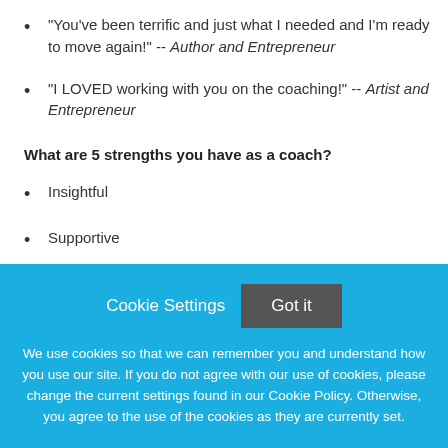“You’ve been terrific and just what I needed and I’m ready to move again!” -- Author and Entrepreneur
“I LOVED working with you on the coaching!” -- Artist and Entrepreneur
What are 5 strengths you have as a coach?
Insightful
Supportive
Leader of the Cheering Squad
Systematic
Cookie Settings  Got it
We use cookies so that we can remember you and understand how you use our site. If you do not agree with our use of cookies, please change the current settings found in our Cookie Policy. Otherwise, you agree to the use of the cookies as they are currently set.